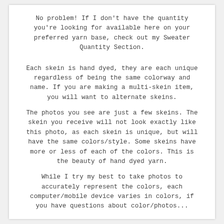No problem! If I don't have the quantity you're looking for available here on your preferred yarn base, check out my Sweater Quantity Section.
Each skein is hand dyed, they are each unique regardless of being the same colorway and name. If you are making a multi-skein item, you will want to alternate skeins.
The photos you see are just a few skeins. The skein you receive will not look exactly like this photo, as each skein is unique, but will have the same colors/style. Some skeins have more or less of each of the colors. This is the beauty of hand dyed yarn.
While I try my best to take photos to accurately represent the colors, each computer/mobile device varies in colors, if you have questions about color/photos...